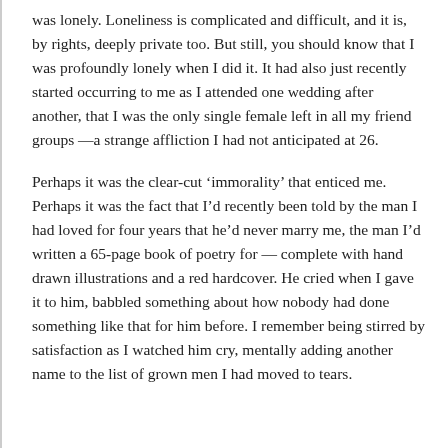was lonely. Loneliness is complicated and difficult, and it is, by rights, deeply private too. But still, you should know that I was profoundly lonely when I did it. It had also just recently started occurring to me as I attended one wedding after another, that I was the only single female left in all my friend groups —a strange affliction I had not anticipated at 26.
Perhaps it was the clear-cut ‘immorality’ that enticed me. Perhaps it was the fact that I’d recently been told by the man I had loved for four years that he’d never marry me, the man I’d written a 65-page book of poetry for — complete with hand drawn illustrations and a red hardcover. He cried when I gave it to him, babbled something about how nobody had done something like that for him before. I remember being stirred by satisfaction as I watched him cry, mentally adding another name to the list of grown men I had moved to tears.